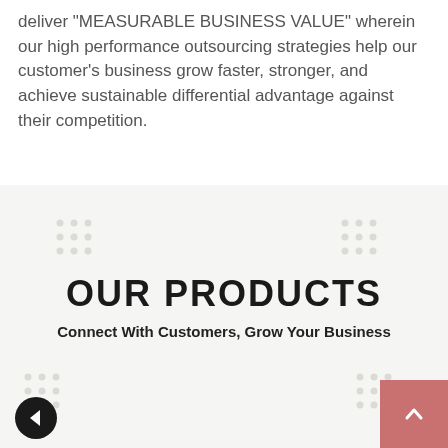deliver "MEASURABLE BUSINESS VALUE" wherein our high performance outsourcing strategies help our customer's business grow faster, stronger, and achieve sustainable differential advantage against their competition.
OUR PRODUCTS
Connect With Customers, Grow Your Business